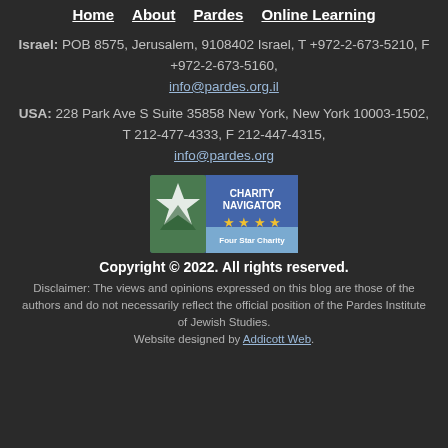Home  About  Pardes  Online Learning
Israel: POB 8575, Jerusalem, 9108402 Israel, T +972-2-673-5210, F +972-2-673-5160, info@pardes.org.il
USA: 228 Park Ave S Suite 35858 New York, New York 10003-1502, T 212-477-4333, F 212-447-4315, info@pardes.org
[Figure (logo): Charity Navigator Four Star Charity badge with green star logo and blue background]
Copyright © 2022. All rights reserved.
Disclaimer: The views and opinions expressed on this blog are those of the authors and do not necessarily reflect the official position of the Pardes Institute of Jewish Studies. Website designed by Addicott Web.